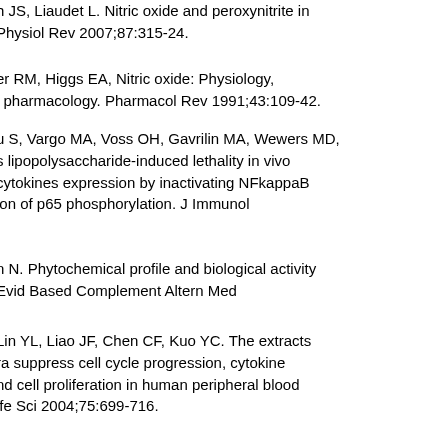h JS, Liaudet L. Nitric oxide and peroxynitrite in Physiol Rev 2007;87:315-24.
er RM, Higgs EA, Nitric oxide: Physiology, l pharmacology. Pharmacol Rev 1991;43:109-42.
u S, Vargo MA, Voss OH, Gavrilin MA, Wewers MD, s lipopolysaccharide-induced lethality in vivo cytokines expression by inactivating NFkappaB ion of p65 phosphorylation. J Immunol
n N. Phytochemical profile and biological activity Evid Based Complement Altern Med
Lin YL, Liao JF, Chen CF, Kuo YC. The extracts ra suppress cell cycle progression, cytokine nd cell proliferation in human peripheral blood ife Sci 2004;75:699-716.
Fukaya Y, Imai S, Dhizum Y. Anti-obesity effect of aves extract in mice and rats. J Ethnopharmacol
H, Jin Y, Li J, Yan SL. Extraction of polyphenol from lotus tic browning substrate. J Anal Sci 2004;20:38-40.
, Ren G, Ying T. A comparative study on antioxidant rts of lotus (Nelumbo nuficera Gaertn) rhizome.